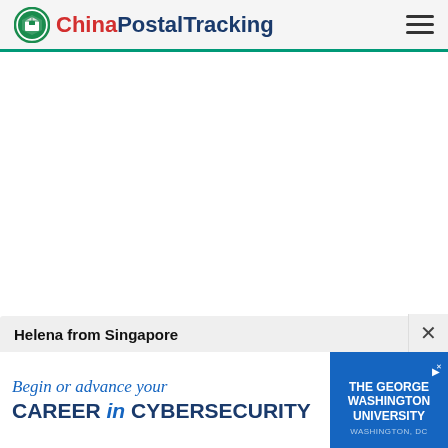ChinaPostalTracking
[Figure (screenshot): White main content area, mostly blank]
Helena from Singapore
[Figure (infographic): Advertisement banner: Begin or advance your CAREER in CYBERSECURITY – The George Washington University, Washington, DC]